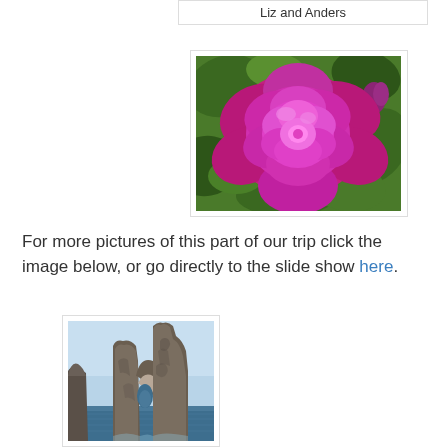Liz and Anders
[Figure (photo): Close-up photo of a large pink/magenta rose flower with green leaves in the background]
For more pictures of this part of our trip click the image below, or go directly to the slide show here.
[Figure (photo): Photo of a rocky coastal arch formation rising from the sea with blue sky]